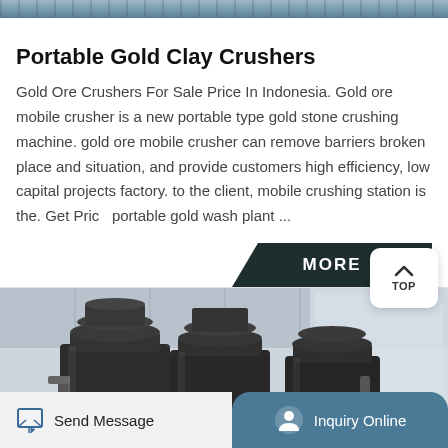[Figure (photo): Top partial image of industrial machinery or landscape, partially visible at the top of the page]
Portable Gold Clay Crushers
Gold Ore Crushers For Sale Price In Indonesia. Gold ore mobile crusher is a new portable type gold stone crushing machine. gold ore mobile crusher can remove barriers broken place and situation, and provide customers high efficiency, low capital projects factory. to the client, mobile crushing station is the. Get Price portable gold wash plant ...
[Figure (photo): Industrial cone crusher machines in a factory warehouse setting, large dark cylindrical/conical machines with red components visible]
Send Message   Inquiry Online